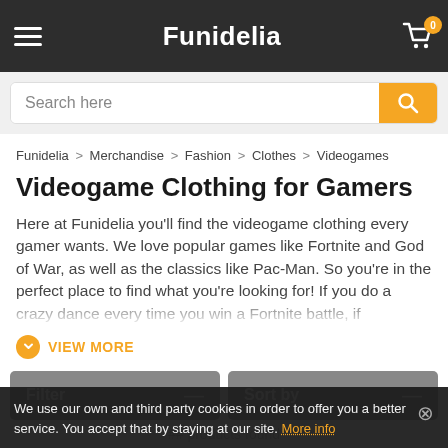Funidelia
Search here
Funidelia > Merchandise > Fashion > Clothes > Videogames
Videogame Clothing for Gamers
Here at Funidelia you'll find the videogame clothing every gamer wants. We love popular games like Fortnite and God of War, as well as the classics like Pac-Man. So you're in the perfect place to find what you're looking for! If you do a crazy dance every time you win a Fortnite battle, if everything in your
VIEW MORE
Filter
Sort by
We use our own and third party cookies in order to offer you a better service. You accept that by staying at our site. More info
## products found